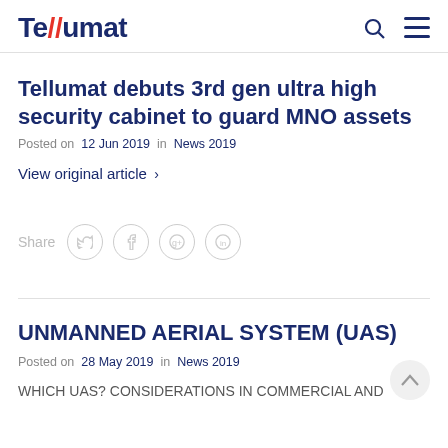Tellumat
Tellumat debuts 3rd gen ultra high security cabinet to guard MNO assets
Posted on 12 Jun 2019 in News 2019
View original article >
Share
UNMANNED AERIAL SYSTEM (UAS)
Posted on 28 May 2019 in News 2019
WHICH UAS? CONSIDERATIONS IN COMMERCIAL AND